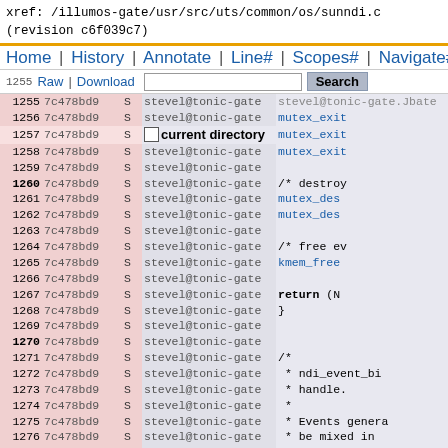xref: /illumos-gate/usr/src/uts/common/os/sunndi.c
(revision c6f039c7)
Home | History | Annotate | Line# | Scopes# | Navigate#
Raw | Download  [Search]
| line | rev | S | user | code |
| --- | --- | --- | --- | --- |
| 1255 | 7c478bd9 | S | stevel@tonic-gate | stevel@tonic-gate.Jbate |
| 1256 | 7c478bd9 | S | stevel@tonic-gate | c4770008 |
| 1257 | 7c478bd9 | S | stevel@tonic-gate | 7c478bd9 S |
| 1258 | 7c478bd9 | S | stevel@tonic-gate | mutex_exit |
| 1259 | 7c478bd9 | S | stevel@tonic-gate | mutex_exit |
| 1260 | 7c478bd9 | S | stevel@tonic-gate | /* destro |
| 1261 | 7c478bd9 | S | stevel@tonic-gate | mutex_des |
| 1262 | 7c478bd9 | S | stevel@tonic-gate | mutex_des |
| 1263 | 7c478bd9 | S | stevel@tonic-gate |  |
| 1264 | 7c478bd9 | S | stevel@tonic-gate | /* free e |
| 1265 | 7c478bd9 | S | stevel@tonic-gate | kmem_free |
| 1266 | 7c478bd9 | S | stevel@tonic-gate |  |
| 1267 | 7c478bd9 | S | stevel@tonic-gate | return (N |
| 1268 | 7c478bd9 | S | stevel@tonic-gate | } |
| 1269 | 7c478bd9 | S | stevel@tonic-gate |  |
| 1270 | 7c478bd9 | S | stevel@tonic-gate |  |
| 1271 | 7c478bd9 | S | stevel@tonic-gate | /* |
| 1272 | 7c478bd9 | S | stevel@tonic-gate |  * ndi_event_bi |
| 1273 | 7c478bd9 | S | stevel@tonic-gate |  * handle. |
| 1274 | 7c478bd9 | S | stevel@tonic-gate |  * |
| 1275 | 7c478bd9 | S | stevel@tonic-gate |  * Events genera |
| 1276 | 7c478bd9 | S | stevel@tonic-gate |  * be mixed in |
| 1277 | 7c478bd9 | S | stevel@tonic-gate |  * normal inter |
| 1278 | 7c478bd9 | S | stevel@tonic-gate |  * |
| 1279 | 7c478bd9 | S | stevel@tonic-gate |  * This functio |
| 1280 | 7c478bd9 | S | stevel@tonic-gate |  * additional |